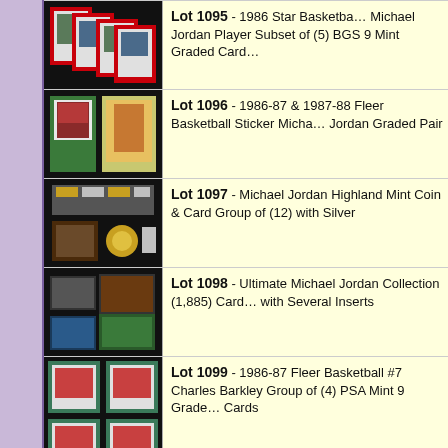[Figure (photo): Partial top row showing a graded basketball card (cut off)]
Lot 1095 - 1986 Star Basketball Michael Jordan Player Subset of (5) BGS 9 Mint Graded Cards
Lot 1096 - 1986-87 & 1987-88 Fleer Basketball Sticker Michael Jordan Graded Pair
Lot 1097 - Michael Jordan Highland Mint Coin & Card Group of (12) with Silver
Lot 1098 - Ultimate Michael Jordan Collection (1,885) Cards with Several Inserts
Lot 1099 - 1986-87 Fleer Basketball #7 Charles Barkley Group of (4) PSA Mint 9 Graded Cards